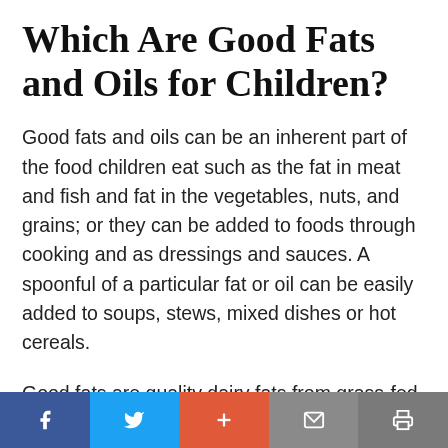Which Are Good Fats and Oils for Children?
Good fats and oils can be an inherent part of the food children eat such as the fat in meat and fish and fat in the vegetables, nuts, and grains; or they can be added to foods through cooking and as dressings and sauces. A spoonful of a particular fat or oil can be easily added to soups, stews, mixed dishes or hot cereals.
Good fats are quality dairy fats from grass-fed
Social share bar: Facebook, Twitter, Plus, Mail, Print